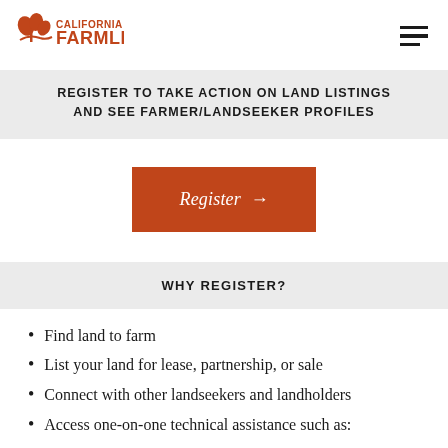California FarmLink
REGISTER TO TAKE ACTION ON LAND LISTINGS AND SEE FARMER/LANDSEEKER PROFILES
[Figure (other): Orange Register button with arrow]
WHY REGISTER?
Find land to farm
List your land for lease, partnership, or sale
Connect with other landseekers and landholders
Access one-on-one technical assistance such as: